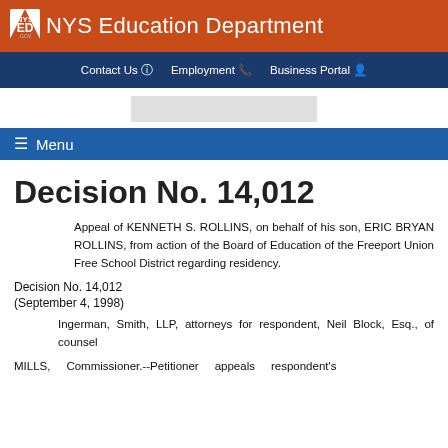NYS Education Department
Contact Us  Employment  Business Portal
≡ Menu
Decision No. 14,012
Appeal of KENNETH S. ROLLINS, on behalf of his son, ERIC BRYAN ROLLINS, from action of the Board of Education of the Freeport Union Free School District regarding residency.
Decision No. 14,012
(September 4, 1998)
Ingerman, Smith, LLP, attorneys for respondent, Neil Block, Esq., of counsel
MILLS, Commissioner.--Petitioner appeals respondent's